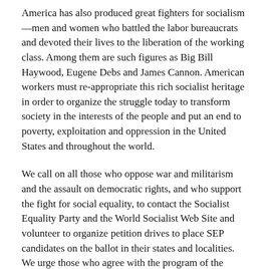America has also produced great fighters for socialism—men and women who battled the labor bureaucrats and devoted their lives to the liberation of the working class. Among them are such figures as Big Bill Haywood, Eugene Debs and James Cannon. American workers must re-appropriate this rich socialist heritage in order to organize the struggle today to transform society in the interests of the people and put an end to poverty, exploitation and oppression in the United States and throughout the world.
We call on all those who oppose war and militarism and the assault on democratic rights, and who support the fight for social equality, to contact the Socialist Equality Party and the World Socialist Web Site and volunteer to organize petition drives to place SEP candidates on the ballot in their states and localities. We urge those who agree with the program of the Socialist Equality Party to come forward to run as SEP candidates themselves.